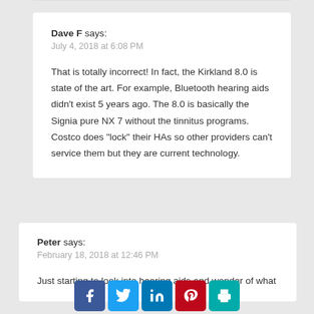Dave F says:
July 4, 2018 at 6:08 PM

That is totally incorrect! In fact, the Kirkland 8.0 is state of the art. For example, Bluetooth hearing aids didn’t exist 5 years ago. The 8.0 is basically the Signia pure NX 7 without the tinnitus programs. Costco does “lock” their HAs so other providers can’t service them but they are current technology.
Peter says:
February 18, 2018 at 12:46 PM

Just starting to look into hearing aids and wonder of what
[Figure (infographic): Social sharing buttons: Facebook (blue), Twitter (light blue), LinkedIn (dark blue), Pinterest (red), Print (teal)]